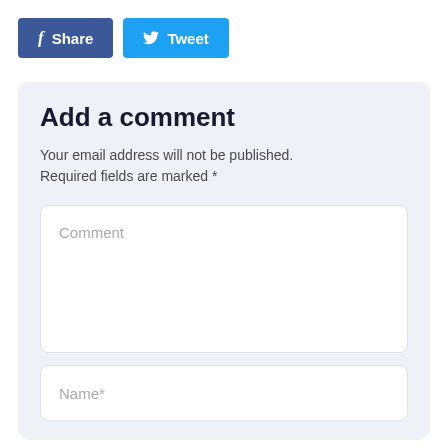[Figure (other): Facebook Share button (dark blue) and Twitter Tweet button (light blue) in top-left area]
Add a comment
Your email address will not be published. Required fields are marked *
Comment
Name*